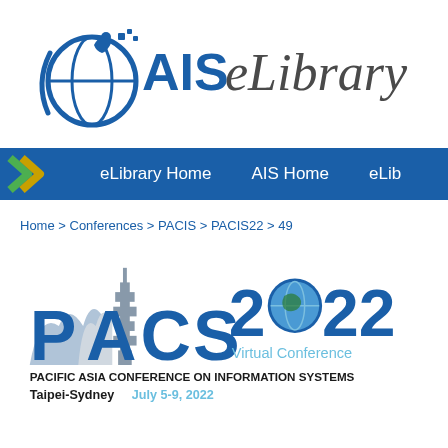[Figure (logo): AIS eLibrary logo with globe/figure icon and italic eLibrary text]
eLibrary Home   AIS Home   eLib
Home > Conferences > PACIS > PACIS22 > 49
[Figure (logo): PACIS 2022 Virtual Conference logo. Pacific Asia Conference on Information Systems. Taipei-Sydney July 5-9, 2022]